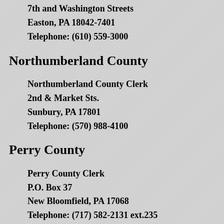7th and Washington Streets
Easton, PA 18042-7401
Telephone: (610) 559-3000
Northumberland County
Northumberland County Clerk
2nd & Market Sts.
Sunbury, PA 17801
Telephone: (570) 988-4100
Perry County
Perry County Clerk
P.O. Box 37
New Bloomfield, PA 17068
Telephone: (717) 582-2131 ext.235
Philadelphia